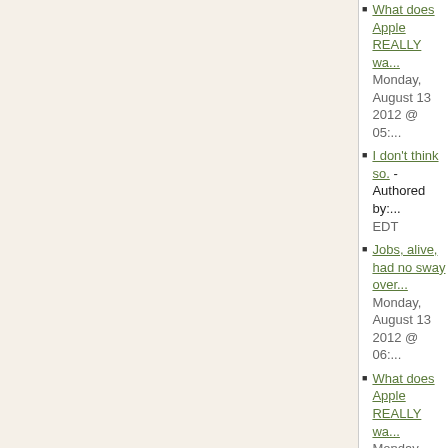What does Apple REALLY wa... Monday, August 13 2012 @ 05:...
I don't think so. - Authored by:... EDT
Jobs, alive, had no sway over... Monday, August 13 2012 @ 06:...
What does Apple REALLY wa... Monday, August 13 2012 @ 08:...
What does Apple REAL... on Tuesday, August 14 2...
Apple expert shines light... - Authored by: An...
Samsung Prospects Dim - Authored by: Anon...
Samsung Prospects Dim (Spin) - Auth... 04:32 AM EDT
Carani Clicky - Authored by: An... EDT
Comes transcripts here
Authored by: bugstomper on Sunday, August 12 2012...
Please post your transcriptions of Comes exhibits here... mode so PJ can copy and paste it
See the Comes Tracking Page to find and claim PDF...
[ Reply to This | # ]
Comes 2913 - Authored by: Anonymous on Su...
Comes 2911 - Authored by: Anonymous on Su...
Comes 2911: Apple complaints to MS... on Sunday, August 12 2012 @ 03:55 P...
Comes 2911 - Foot in mouth moment... 07:39 PM EDT